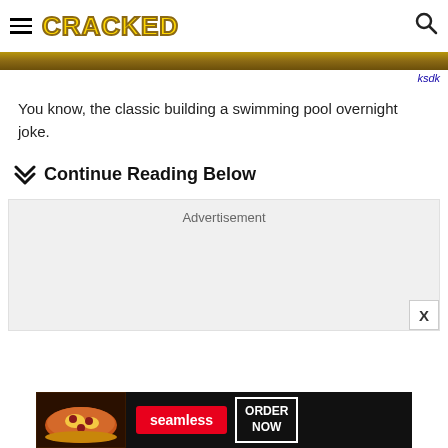CRACKED
[Figure (photo): Dark golden/brown banner image bar]
ksdk
You know, the classic building a swimming pool overnight joke.
Continue Reading Below
[Figure (other): Advertisement placeholder box]
[Figure (other): Seamless food delivery advertisement with pizza image, ORDER NOW button]